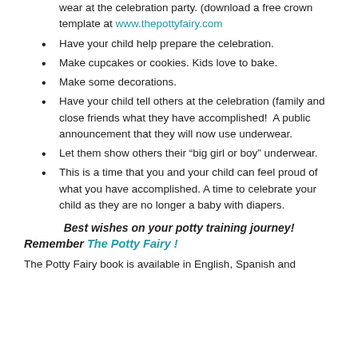wear at the celebration party. (download a free crown template at www.thepottyfairy.com
Have your child help prepare the celebration.
Make cupcakes or cookies. Kids love to bake.
Make some decorations.
Have your child tell others at the celebration (family and close friends what they have accomplished!  A public announcement that they will now use underwear.
Let them show others their “big girl or boy” underwear.
This is a time that you and your child can feel proud of what you have accomplished. A time to celebrate your child as they are no longer a baby with diapers.
Best wishes on your potty training journey!
Remember The Potty Fairy !
The Potty Fairy book is available in English, Spanish and